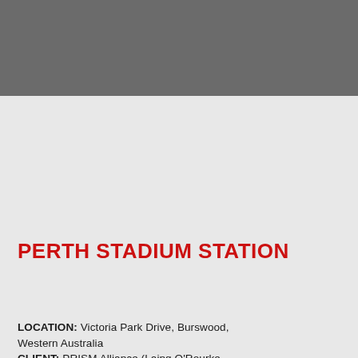[Figure (photo): Dark grey rectangular banner/header area at top of page]
PERTH STADIUM STATION
LOCATION: Victoria Park Drive, Burswood, Western Australia
CLIENT: PRISM Alliance (Laing O'Rourke & PTA)
ARCHITECT: John-Paul Davies, Hassel Studio